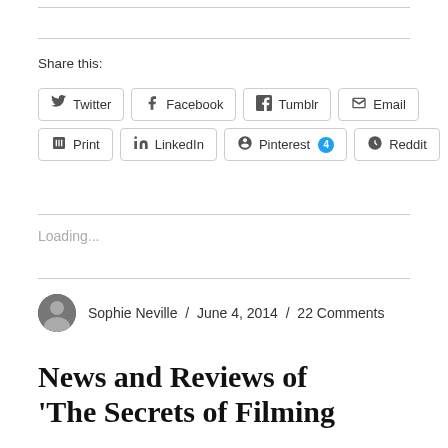Share this:
Twitter Facebook Tumblr Email Print LinkedIn Pinterest 4 Reddit
Loading...
Sophie Neville / June 4, 2014 / 22 Comments
News and Reviews of 'The Secrets of Filming...